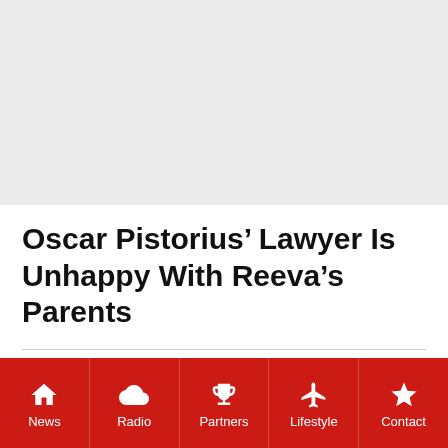Oscar Pistorius’ Lawyer Is Unhappy With Reeva’s Parents
May 6, 2022 by Jasmine Stone
Pistorius’ lawyer, Julian Knight, has accused the
News | Radio | Partners | Lifestyle | Contact